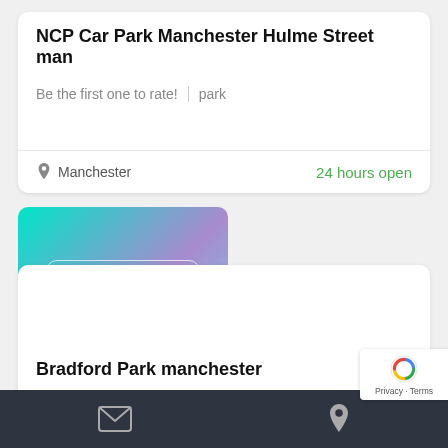NCP Car Park Manchester Hulme Street man
Be the first one to rate!   park
Manchester   24 hours open
[Figure (photo): Placeholder image with teal-to-purple gradient, white bordered pill badge and size text]
Bradford Park manchester
Be the first one to rate!   park
Email icon | Location pin icon | Privacy · Terms (reCAPTCHA)